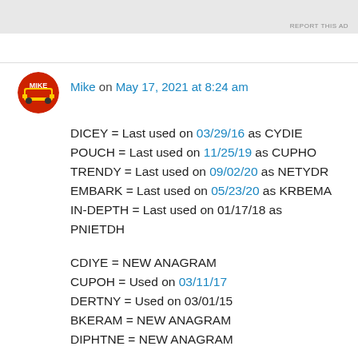[Figure (other): Gray advertisement banner at top of page with 'REPORT THIS AD' text]
[Figure (other): Circular avatar icon with red/orange train logo for user Mike]
Mike on May 17, 2021 at 8:24 am
DICEY = Last used on 03/29/16 as CYDIE
POUCH = Last used on 11/25/19 as CUPHO
TRENDY = Last used on 09/02/20 as NETYDR
EMBARK = Last used on 05/23/20 as KRBEMA
IN-DEPTH = Last used on 01/17/18 as PNIETDH

CDIYE = NEW ANAGRAM
CUPOH = Used on 03/11/17
DERTNY = Used on 03/01/15
BKERAM = NEW ANAGRAM
DIPHTNE = NEW ANAGRAM